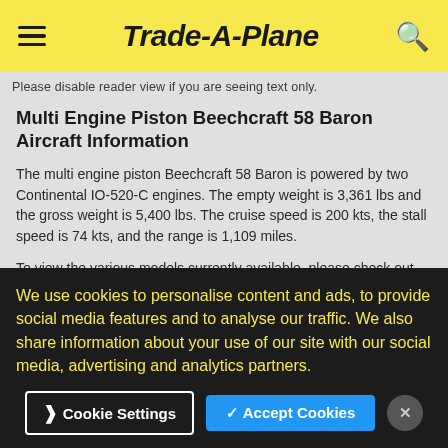Trade-A-Plane
Please disable reader view if you are seeing text only.
Multi Engine Piston Beechcraft 58 Baron Aircraft Information
The multi engine piston Beechcraft 58 Baron is powered by two Continental IO-520-C engines. The empty weight is 3,361 lbs and the gross weight is 5,400 lbs. The cruise speed is 200 kts, the stall speed is 74 kts, and the range is 1,109 miles.
To view the various models currently available, please check out our Beechcraft aircraft for sale, our Multi Engine Piston aircraft for sale or
We use cookies to personalise content and ads, to provide social media features and to analyse our traffic. We also share information about your use of our site with our social media, advertising and analytics partners.